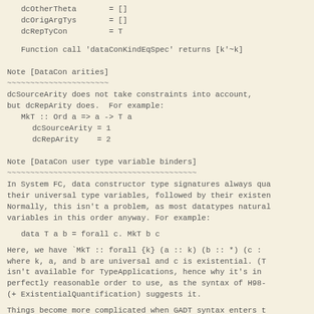dcOtherTheta       = []
dcOrigArgTys       = []
dcRepTyCon         = T
Function call 'dataConKindEqSpec' returns [k'~k]
Note [DataCon arities]
~~~~~~~~~~~~~~~~~~~~~~
dcSourceArity does not take constraints into account,
but dcRepArity does.  For example:
   MkT :: Ord a => a -> T a
     dcSourceArity = 1
     dcRepArity    = 2
Note [DataCon user type variable binders]
~~~~~~~~~~~~~~~~~~~~~~~~~~~~~~~~~~~~~~~~~
In System FC, data constructor type signatures always qua
their universal type variables, followed by their existen
Normally, this isn't a problem, as most datatypes natural
variables in this order anyway. For example:
data T a b = forall c. MkT b c
Here, we have `MkT :: forall {k} (a :: k) (b :: *) (c ::
where k, a, and b are universal and c is existential. (Th
isn't available for TypeApplications, hence why it's in b
perfectly reasonable order to use, as the syntax of H98-s
(+ ExistentialQuantification) suggests it.
Things become more complicated when GADT syntax enters th